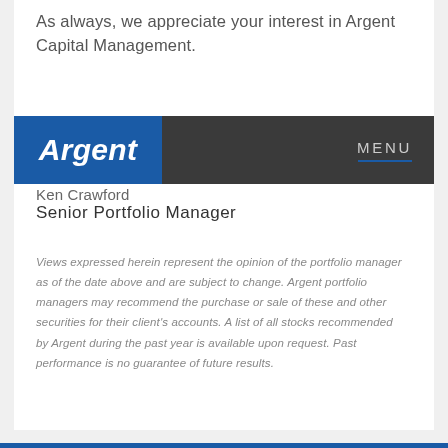As always, we appreciate your interest in Argent Capital Management.
[Figure (logo): Argent Capital Management navigation bar with blue Argent logo on left and MENU label on right]
Ken Crawford
Senior Portfolio Manager
Views expressed herein represent the opinion of the portfolio manager as of the date above and are subject to change. Argent portfolio managers may recommend the purchase or sale of these and other securities for their client's accounts. A list of all stocks recommended by Argent during the past year is available upon request. Past performance is no guarantee of future results.